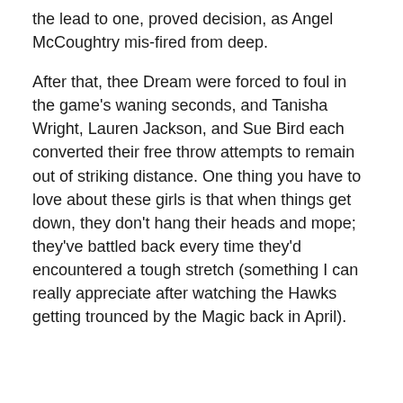the lead to one, proved decision, as Angel McCoughtry mis-fired from deep.
After that, thee Dream were forced to foul in the game's waning seconds, and Tanisha Wright, Lauren Jackson, and Sue Bird each converted their free throw attempts to remain out of striking distance. One thing you have to love about these girls is that when things get down, they don't hang their heads and mope; they've battled back every time they'd encountered a tough stretch (something I can really appreciate after watching the Hawks getting trounced by the Magic back in April).